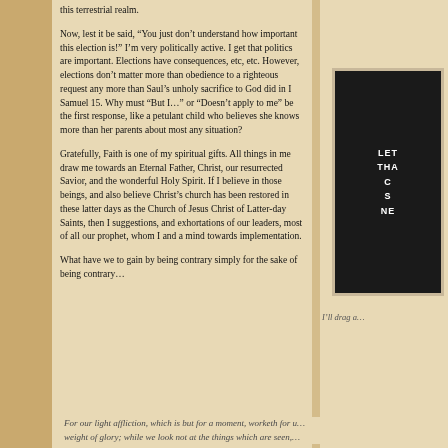this terrestrial realm.
Now, lest it be said, “You just don’t understand how important this election is!” I’m very politically active. I get that politics are important. Elections have consequences, etc, etc. However, elections don’t matter more than obedience to a righteous request any more than Saul’s unholy sacrifice to God did in I Samuel 15. Why must “But I…” or “Doesn’t apply to me” be the first response, like a petulant child who believes she knows more than her parents about most any situation?
[Figure (other): Dark box with white uppercase bold text partially visible: LET... THA... (partial text on right side of page)]
I’ll drag a… (partial text in sidebar)
Gratefully, Faith is one of my spiritual gifts. All things in me draw me towards an Eternal Father, Christ, our resurrected Savior, and the wonderful Holy Spirit. If I believe in those beings, and also believe Christ’s church has been restored in these latter days as the Church of Jesus Christ of Latter-day Saints, then I suggestions, and exhortations of our leaders, most of all our prophet, whom I and a mind towards implementation.
What have we to gain by being contrary simply for the sake of being contrary…
For our light affliction, which is but for a moment, worketh for u… weight of glory; while we look not at the things which are seen,…